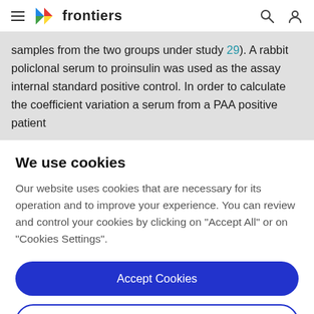frontiers
samples from the two groups under study (29). A rabbit policlonal serum to proinsulin was used as the assay internal standard positive control. In order to calculate the coefficient variation a serum from a PAA positive patient
We use cookies
Our website uses cookies that are necessary for its operation and to improve your experience. You can review and control your cookies by clicking on "Accept All" or on "Cookies Settings".
Accept Cookies
Cookies Settings